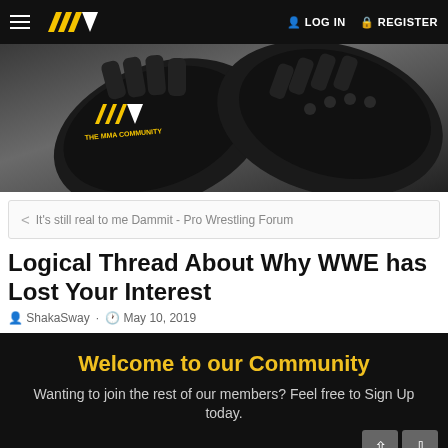THE MMA COMMUNITY — LOG IN  REGISTER
[Figure (photo): Hero banner showing black MMA gloves with THE MMA COMMUNITY logo in yellow and white on a grey background]
< It's still real to me Dammit - Pro Wrestling Forum
Logical Thread About Why WWE has Lost Your Interest
ShakaSway · May 10, 2019
Welcome to our Community
Wanting to join the rest of our members? Feel free to Sign Up today.